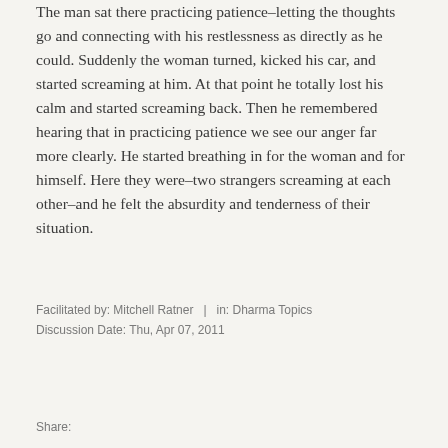The man sat there practicing patience–letting the thoughts go and connecting with his restlessness as directly as he could. Suddenly the woman turned, kicked his car, and started screaming at him. At that point he totally lost his calm and started screaming back. Then he remembered hearing that in practicing patience we see our anger far more clearly. He started breathing in for the woman and for himself. Here they were–two strangers screaming at each other–and he felt the absurdity and tenderness of their situation.
Facilitated by: Mitchell Ratner  |  in: Dharma Topics
Discussion Date: Thu, Apr 07, 2011
Share: